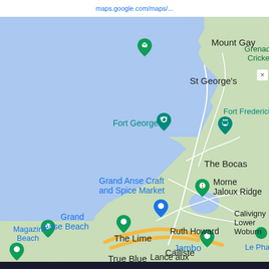maps.google.com/maps/...
[Figure (map): Google Maps screenshot showing the southwestern coast of Grenada, including landmarks: Grenada National Cricket Stadium, Mount Gay, St George's, Fort Frederick, Fort George, The Bocas, Grand Anse Craft and Spice Market, Morne Jaloux Ridge, Grand Anse Beach, Calivigny Lower Woburn, Ruth Howard, The Lime, Jambo, Le Phare, Magazine Beach, Calliste, True Blue, Lance aux (partially visible). Roads shown include a yellow highlighted road through Calliste area. Water (Caribbean Sea) shown in blue on the left side. Land areas in light green.]